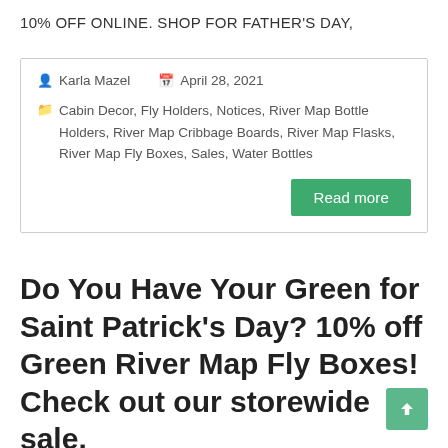10% OFF ONLINE. SHOP FOR FATHER'S DAY,
Karla Mazel   April 28, 2021
Cabin Decor, Fly Holders, Notices, River Map Bottle Holders, River Map Cribbage Boards, River Map Flasks, River Map Fly Boxes, Sales, Water Bottles
Read more
Do You Have Your Green for Saint Patrick's Day? 10% off Green River Map Fly Boxes! Check out our storewide sale.